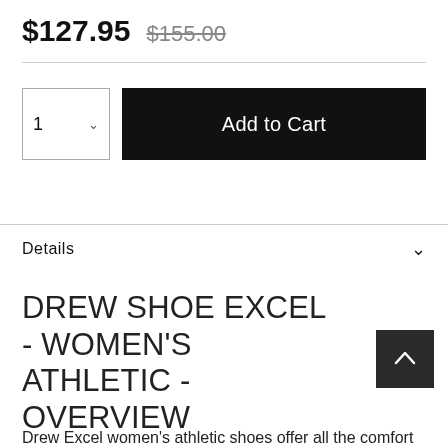$127.95  $155.00
1  Add to Cart
Details
DREW SHOE EXCEL - WOMEN'S ATHLETIC - OVERVIEW
Drew Excel women's athletic shoes offer all the comfort